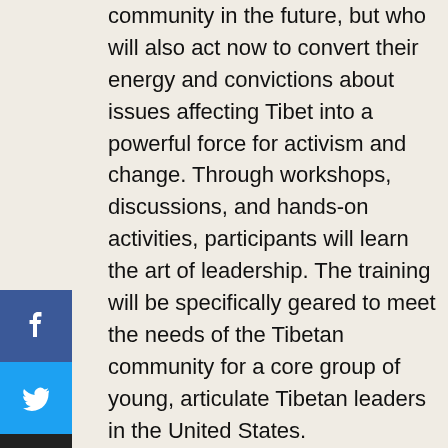community in the future, but who will also act now to convert their energy and convictions about issues affecting Tibet into a powerful force for activism and change. Through workshops, discussions, and hands-on activities, participants will learn the art of leadership. The training will be specifically geared to meet the needs of the Tibetan community for a core group of young, articulate Tibetan leaders in the United States.

Participants will learn the skills and tools required to become a successful youth organizer, including crucial media and communication skills. Participants will hear from and interact with many distinguished guest speakers who will deal with issues such as lobbying tactics in context of U.S.